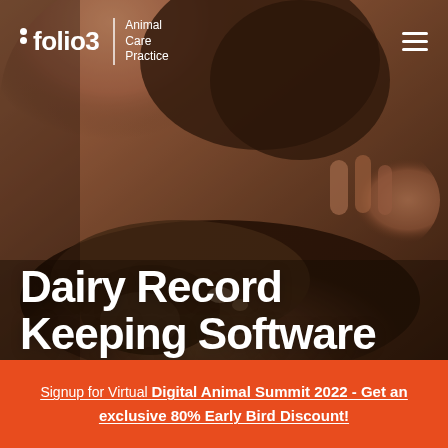[Figure (photo): Person nuzzling a young calf, close-up warm-toned photo used as hero background]
folio3 | Animal Care Practice
Dairy Record Keeping Software
Get Free Consultation
Signup for Virtual Digital Animal Summit 2022 - Get an exclusive 80% Early Bird Discount!